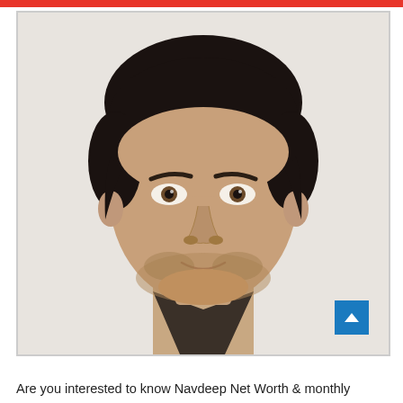[Figure (photo): Portrait photo of a man (Navdeep) with dark curly hair, light stubble beard, wearing a dark collared shirt, looking directly at camera against a white/light background]
Are you interested to know Navdeep Net Worth & monthly